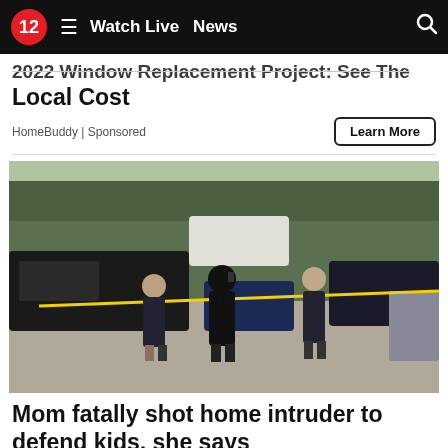12 ≡ Watch Live  News  🔍
2022 Window Replacement Project: See The Local Cost
HomeBuddy | Sponsored
[Figure (photo): Police officers and investigators standing near police tape and vehicles at an outdoor crime scene on a street with trees in the background.]
Mom fatally shot home intruder to defend kids, she says